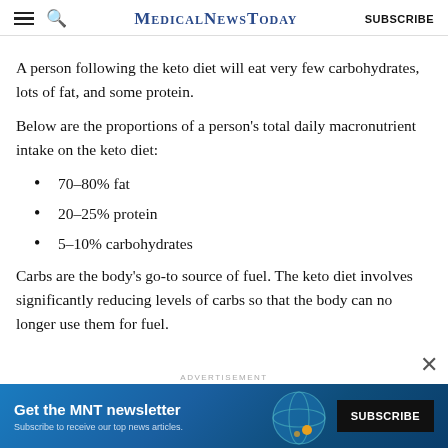MedicalNewsToday | SUBSCRIBE
A person following the keto diet will eat very few carbohydrates, lots of fat, and some protein.
Below are the proportions of a person's total daily macronutrient intake on the keto diet:
70–80% fat
20–25% protein
5–10% carbohydrates
Carbs are the body's go-to source of fuel. The keto diet involves significantly reducing levels of carbs so that the body can no longer use them for fuel.
[Figure (other): ADVERTISEMENT banner: Get the MNT newsletter — Subscribe to receive our top news articles. SUBSCRIBE button. Blue background with globe graphic.]